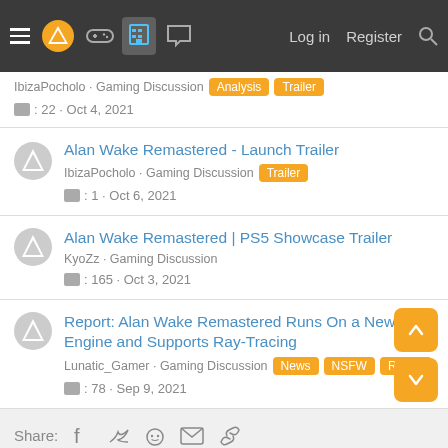Navigation bar with hamburger menu, logo, game controller icon, building icon (active), chat icon, Log in, Register, Search
IbizaPocholo · Gaming Discussion [Analysis] [Trailer] · 22 · Oct 4, 2021
Alan Wake Remastered - Launch Trailer · IbizaPocholo · Gaming Discussion [Trailer] · 1 · Oct 6, 2021
Alan Wake Remastered | PS5 Showcase Trailer · KyoZz · Gaming Discussion · 165 · Oct 3, 2021
Report: Alan Wake Remastered Runs On a New Engine and Supports Ray-Tracing · Lunatic_Gamer · Gaming Discussion [News] [NSFW] [Rumor] · 78 · Sep 9, 2021
Share: (Facebook, Twitter, Reddit, Email, Link icons)